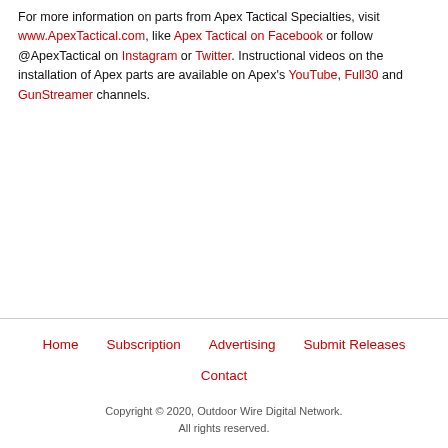For more information on parts from Apex Tactical Specialties, visit www.ApexTactical.com, like Apex Tactical on Facebook or follow @ApexTactical on Instagram or Twitter. Instructional videos on the installation of Apex parts are available on Apex's YouTube, Full30 and GunStreamer channels.
Home  Subscription  Advertising  Submit Releases  Contact  Copyright © 2020, Outdoor Wire Digital Network. All rights reserved.